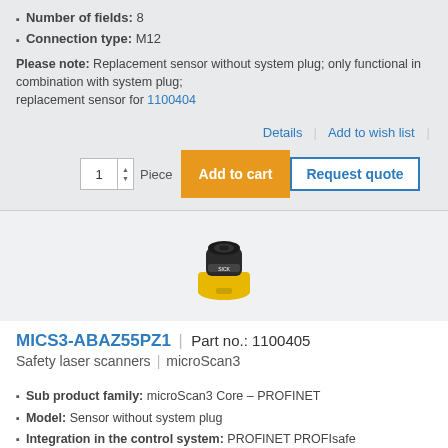Number of fields: 8
Connection type: M12
Please note: Replacement sensor without system plug; only functional in combination with system plug; replacement sensor for 1100404
Details | Add to wish list
1 Piece  Add to cart  Request quote
[Figure (photo): Photo of microScan3 safety laser scanner product, black and yellow body]
MICS3-ABAZ55PZ1  |  Part no.: 1100405
Safety laser scanners | microScan3
Sub product family: microScan3 Core – PROFINET
Model: Sensor without system plug
Integration in the control system: PROFINET PROFIsafe
Protective field range: 5.5 m
Scanning angle: 275°